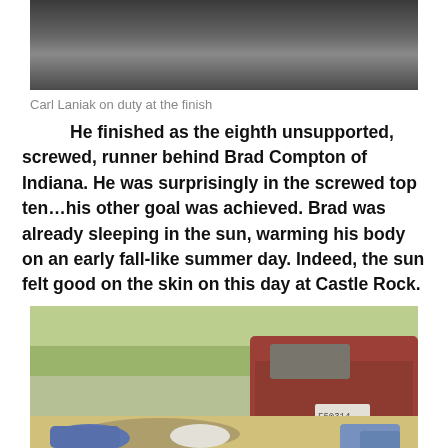[Figure (photo): Top portion of a photo showing a runner or person at a finish line area, partially cropped]
Carl Laniak on duty at the finish
He finished as the eighth unsupported, screwed, runner behind Brad Compton of Indiana. He was surprisingly in the screwed top ten…his other goal was achieved. Brad was already sleeping in the sun, warming his body on an early fall-like summer day. Indeed, the sun felt good on the skin on this day at Castle Rock.
[Figure (photo): Photo of a person lying on the ground near a red SUV/car parked on a dirt road in a wooded area, with bags and gear around them]